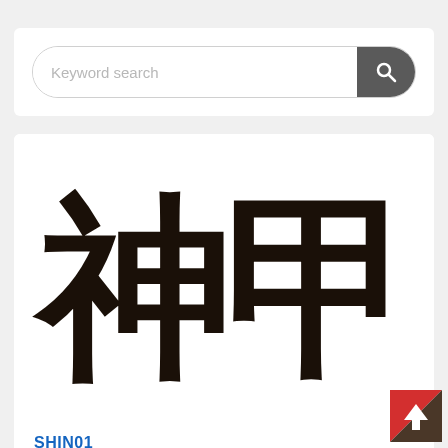[Figure (screenshot): Search bar UI component with placeholder text 'Keyword search' and a dark search button with magnifier icon]
[Figure (illustration): Large Japanese kanji characters displayed in bold black brush stroke style. Top characters appear to show parts of kanji. Label 'SHIN01' in blue below first kanji. Second partial kanji visible at bottom.]
SHIN01
[Figure (illustration): Scroll-to-top button in bottom-right corner: red and dark brown triangular design with white upward arrow]